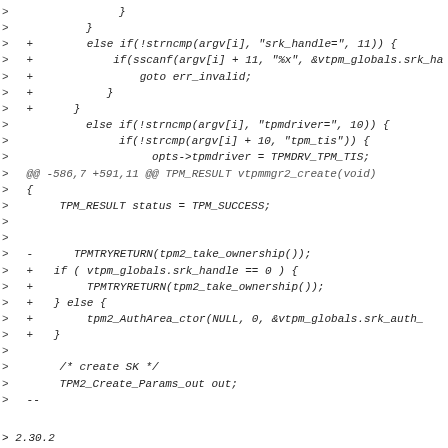Code diff showing changes to vtpm/vtpmmgr source including srk_handle and tpm2 ownership logic
> 2.30.2